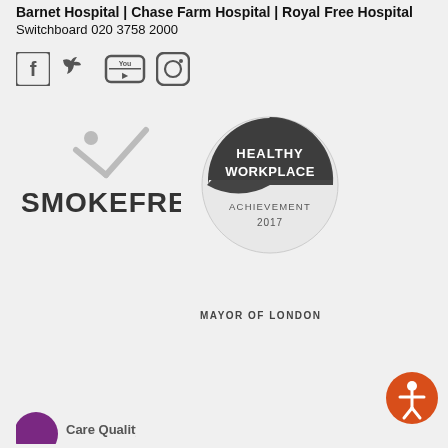Barnet Hospital | Chase Farm Hospital | Royal Free Hospital
Switchboard 020 3758 2000
[Figure (logo): Social media icons: Facebook, Twitter, YouTube, Instagram]
[Figure (logo): Smokefree logo with checkmark icon and bold text SMOKEFREE]
[Figure (logo): Healthy Workplace Achievement 2017 Mayor of London badge - circular grey and dark logo]
[Figure (logo): Accessibility button icon - orange circle with human figure]
[Figure (logo): Care Quality Commission logo partially visible at bottom]